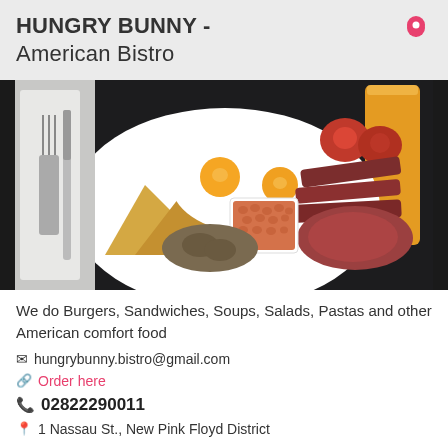HUNGRY BUNNY - American Bistro
[Figure (photo): Overhead photo of a full English/American breakfast plate with two fried eggs, bacon, baked beans in a small white bowl, grilled tomatoes, sautéed mushrooms, and toast triangles on a white plate, served on a dark table with a glass of orange juice and cutlery visible]
We do Burgers, Sandwiches, Soups, Salads, Pastas and other American comfort food
✉ hungrybunny.bistro@gmail.com
Order here
02822290011
1 Nassau St., New Pink Floyd District